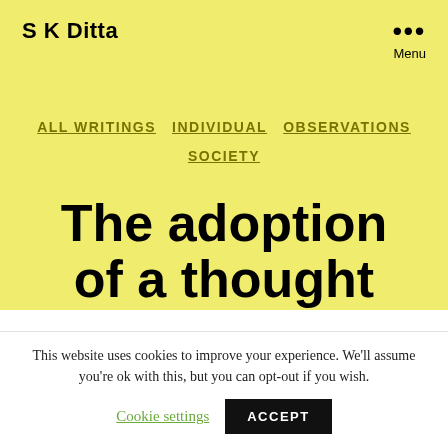S K Ditta
ALL WRITINGS   INDIVIDUAL   OBSERVATIONS   SOCIETY
The adoption of a thought
At SKDitta
This website uses cookies to improve your experience. We'll assume you're ok with this, but you can opt-out if you wish.
Cookie settings   ACCEPT